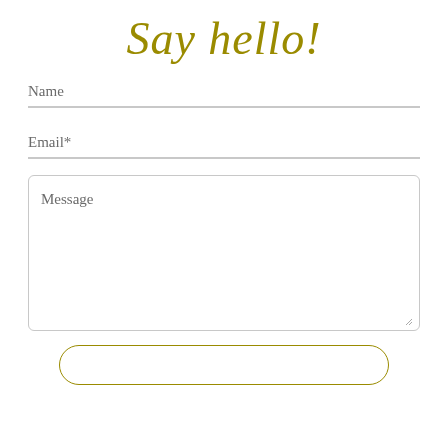Say hello!
Name
Email*
Message
[Figure (other): Submit button outline with rounded corners and gold border, partially visible at bottom of page]